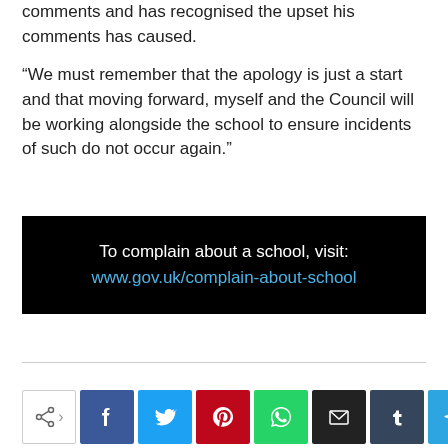comments and has recognised the upset his comments has caused.

“We must remember that the apology is just a start and that moving forward, myself and the Council will be working alongside the school to ensure incidents of such do not occur again.”
[Figure (other): Black banner with text: 'To complain about a school, visit: www.gov.uk/complain-about-school']
[Figure (other): Social share bar with share icon, Facebook, Twitter, Pinterest, WhatsApp, Email, Tumblr, and Telegram buttons]